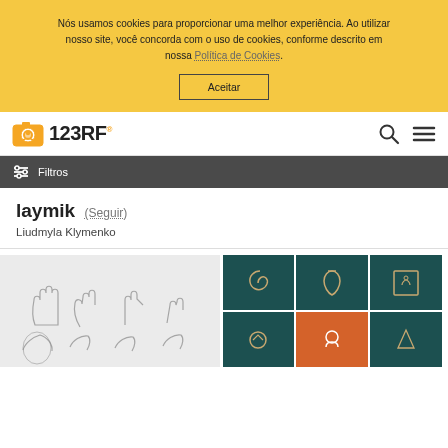Nós usamos cookies para proporcionar uma melhor experiência. Ao utilizar nosso site, você concorda com o uso de cookies, conforme descrito em nossa Política de Cookies.
Aceitar
[Figure (logo): 123RF stock photo website logo with camera icon and text '123RF']
[Figure (illustration): Search icon (magnifying glass)]
[Figure (illustration): Hamburger menu icon]
Filtros
laymik (Seguir)
Liudmyla Klymenko
[Figure (illustration): Collection of hand gesture line drawings on light gray background]
[Figure (illustration): Grid of art studio icons on teal/dark green and orange backgrounds]